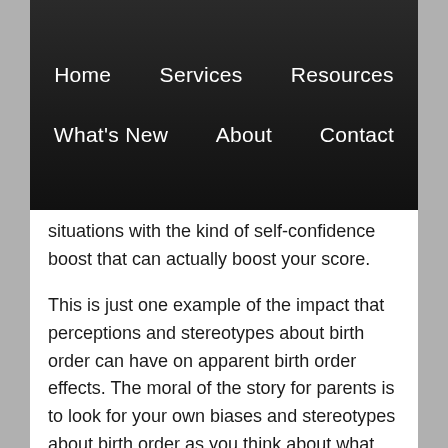Home   Services   Resources   What's New   About   Contact
situations with the kind of self-confidence boost that can actually boost your score.
This is just one example of the impact that perceptions and stereotypes about birth order can have on apparent birth order effects. The moral of the story for parents is to look for your own biases and stereotypes about birth order as you think about what your children are capable of doing. Encourage them to teach each other, to define their own identities in the family, and to avoid labelling themselves based on their birth order. Don't let the lives of your